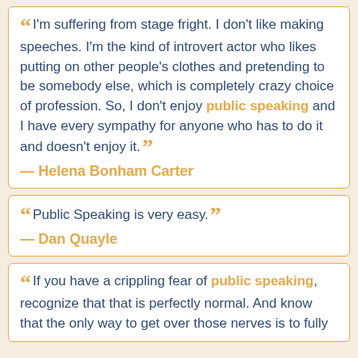“I'm suffering from stage fright. I don't like making speeches. I'm the kind of introvert actor who likes putting on other people's clothes and pretending to be somebody else, which is completely crazy choice of profession. So, I don't enjoy public speaking and I have every sympathy for anyone who has to do it and doesn't enjoy it.” — Helena Bonham Carter
“Public Speaking is very easy.” — Dan Quayle
“If you have a crippling fear of public speaking, recognize that that is perfectly normal. And know that the only way to get over those nerves is to fully